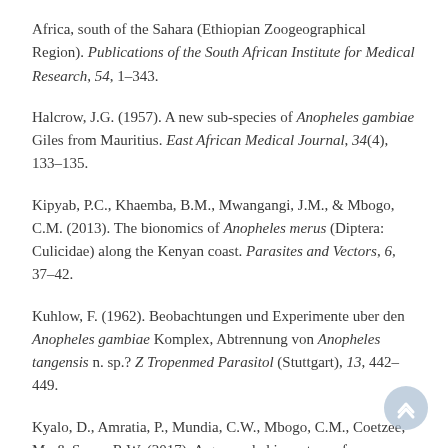Africa, south of the Sahara (Ethiopian Zoogeographical Region). Publications of the South African Institute for Medical Research, 54, 1–343.
Halcrow, J.G. (1957). A new sub-species of Anopheles gambiae Giles from Mauritius. East African Medical Journal, 34(4), 133–135.
Kipyab, P.C., Khaemba, B.M., Mwangangi, J.M., & Mbogo, C.M. (2013). The bionomics of Anopheles merus (Diptera: Culicidae) along the Kenyan coast. Parasites and Vectors, 6, 37–42.
Kuhlow, F. (1962). Beobachtungen und Experimente uber den Anopheles gambiae Komplex, Abtrennung von Anopheles tangensis n. sp.? Z Tropenmed Parasitol (Stuttgart), 13, 442–449.
Kyalo, D., Amratia, P., Mundia, C.W., Mbogo, C.M., Coetzee, M., & Snow, R.W. (2017). A geo-coded inventory of anophelines in the Afrotropical Region south of the Sahara: